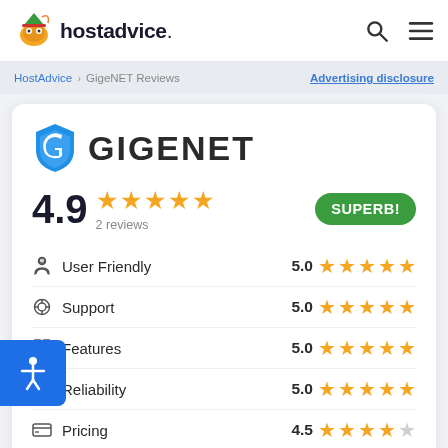hostadvice.
HostAdvice › GigeNET Reviews   Advertising disclosure
[Figure (logo): GigeNET logo with blue shield G icon and GIGENET text]
4.9  ★★★★★  2 reviews   SUPERB!
| Category | Score | Stars |
| --- | --- | --- |
| User Friendly | 5.0 | ★★★★★ |
| Support | 5.0 | ★★★★★ |
| Features | 5.0 | ★★★★★ |
| Reliability | 5.0 | ★★★★★ |
| Pricing | 4.5 | ★★★★½ |